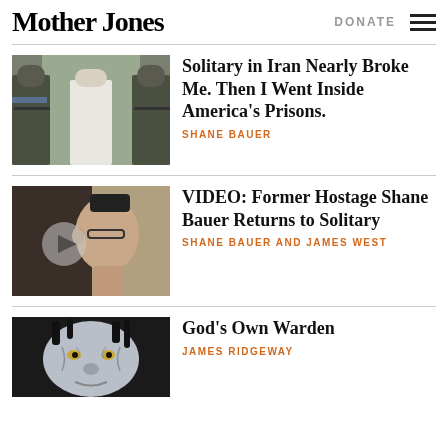Mother Jones
[Figure (screenshot): Article thumbnail: Guards walking a prisoner in white jumpsuit down a prison corridor]
Solitary in Iran Nearly Broke Me. Then I Went Inside America's Prisons.
SHANE BAUER
[Figure (photo): Video thumbnail: Close-up profile of a man with glasses, dark background, with play button overlay]
VIDEO: Former Hostage Shane Bauer Returns to Solitary
SHANE BAUER AND JAMES WEST
[Figure (illustration): Painting of an old man's face with weathered features and yellow eyes, dark background]
God's Own Warden
JAMES RIDGEWAY